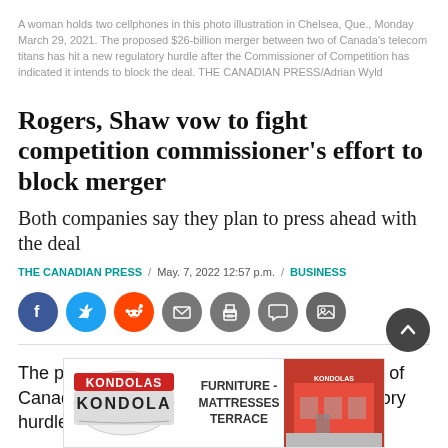A woman holds two cellphones in this photo illustration in Chelsea, Que., Monday March 29, 2021. The proposed $26-billion merger between two of Canada's telecom titans has hit a new regulatory hurdle after the Commissioner of Competition has indicated it intends to block the deal. THE CANADIAN PRESS/Adrian Wyld
Rogers, Shaw vow to fight competition commissioner's effort to block merger
Both companies say they plan to press ahead with the deal
THE CANADIAN PRESS / May. 7, 2022 12:57 p.m. / BUSINESS
[Figure (infographic): Social sharing icons: Facebook (blue circle), Twitter (light blue circle), Reddit (orange circle), Email (grey circle), Print (grey circle), Comment (grey circle), Gallery (grey circle)]
The proposed $26-billion merger between two of Canada's telecom titans has hit a new regulatory hurdle after the
[Figure (infographic): Advertisement for Kondolas Furniture - Mattresses, Terrace. Shows Kondolas logo on left, text 'FURNITURE - MATTRESSES TERRACE' in center, and a red building storefront on the right.]